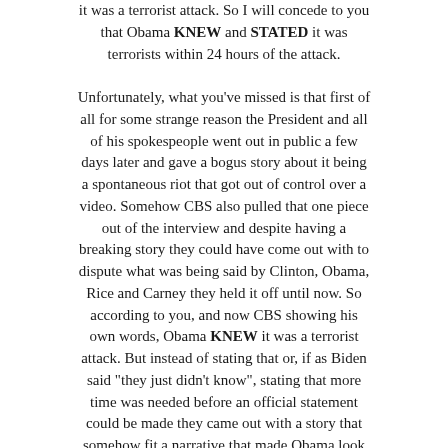it was a terrorist attack. So I will concede to you that Obama KNEW and STATED it was terrorists within 24 hours of the attack.

Unfortunately, what you've missed is that first of all for some strange reason the President and all of his spokespeople went out in public a few days later and gave a bogus story about it being a spontaneous riot that got out of control over a video. Somehow CBS also pulled that one piece out of the interview and despite having a breaking story they could have come out with to dispute what was being said by Clinton, Obama, Rice and Carney they held it off until now. So according to you, and now CBS showing his own words, Obama KNEW it was a terrorist attack. But instead of stating that or, if as Biden said "they just didn't know", stating that more time was needed before an official statement could be made they came out with a story that somehow fit a narrative that made Obama look good. The fog of war can make it hard to know what's going on however you yourself have said HE KNEW it was a terrorist attack. So thanks Michael – you just made a great case for Obama either being incompetent or untruthful. Either